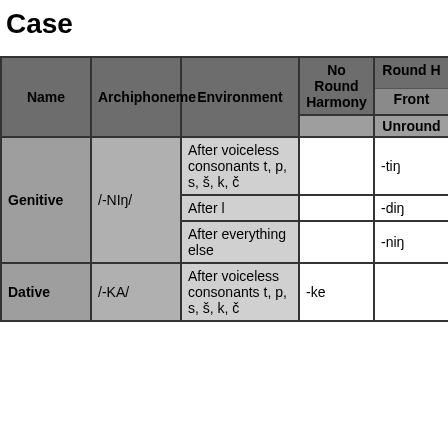Case
| Name | Archiphoneme | Environment | No Round Harmony | Round Harmony Unround |
| --- | --- | --- | --- | --- |
| Genitive | /-NIŋ/ | After voiceless consonants t, p, s, š, k, č |  | -tiŋ |
| Genitive | /-NIŋ/ | After l |  | -diŋ |
| Genitive | /-NIŋ/ | After everything else |  | -niŋ |
| Dative | /-KA/ | After voiceless consonants t, p, s, š, k, č | -ke |  |